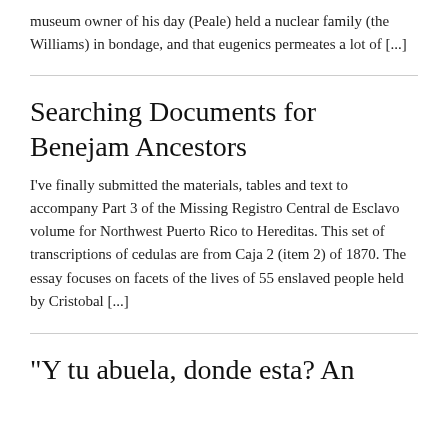museum owner of his day (Peale) held a nuclear family (the Williams) in bondage, and that eugenics permeates a lot of [...]
Searching Documents for Benejam Ancestors
I've finally submitted the materials, tables and text to accompany Part 3 of the Missing Registro Central de Esclavo volume for Northwest Puerto Rico to Hereditas. This set of transcriptions of cedulas are from Caja 2 (item 2) of 1870. The essay focuses on facets of the lives of 55 enslaved people held by Cristobal [...]
“Y tu abuela, donde esta? An